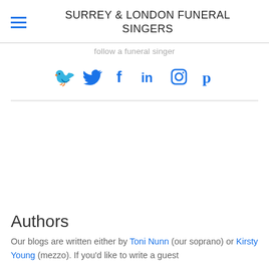SURREY & LONDON FUNERAL SINGERS
follow a funeral singer
[Figure (infographic): Social media icons: Twitter bird, Facebook f, LinkedIn in, Instagram camera, Pinterest p — all in blue]
Authors
Our blogs are written either by Toni Nunn (our soprano) or Kirsty Young (mezzo). If you'd like to write a guest